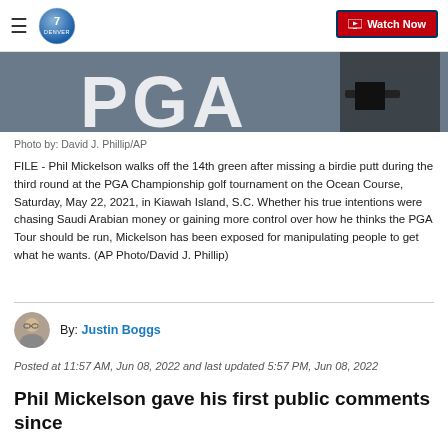Denver 7 — Watch Now
[Figure (photo): Phil Mickelson at PGA Championship, partial image showing PGA signage and golfer's midsection]
Photo by: David J. Phillip/AP
FILE - Phil Mickelson walks off the 14th green after missing a birdie putt during the third round at the PGA Championship golf tournament on the Ocean Course, Saturday, May 22, 2021, in Kiawah Island, S.C. Whether his true intentions were chasing Saudi Arabian money or gaining more control over how he thinks the PGA Tour should be run, Mickelson has been exposed for manipulating people to get what he wants. (AP Photo/David J. Phillip)
By: Justin Boggs
Posted at 11:57 AM, Jun 08, 2022 and last updated 5:57 PM, Jun 08, 2022
Phil Mickelson gave his first public comments since